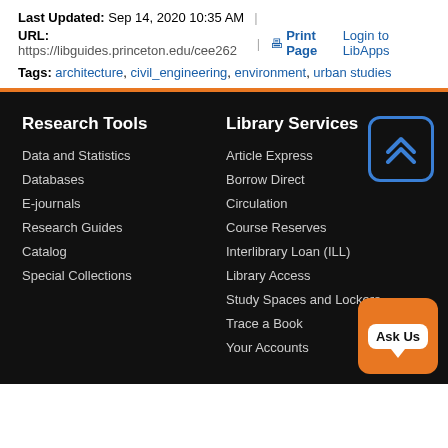Last Updated: Sep 14, 2020 10:35 AM | URL: https://libguides.princeton.edu/cee262 | Print Page Login to LibApps
Tags: architecture, civil_engineering, environment, urban studies
Research Tools
Data and Statistics
Databases
E-journals
Research Guides
Catalog
Special Collections
Library Services
Article Express
Borrow Direct
Circulation
Course Reserves
Interlibrary Loan (ILL)
Library Access
Study Spaces and Lockers
Trace a Book
Your Accounts